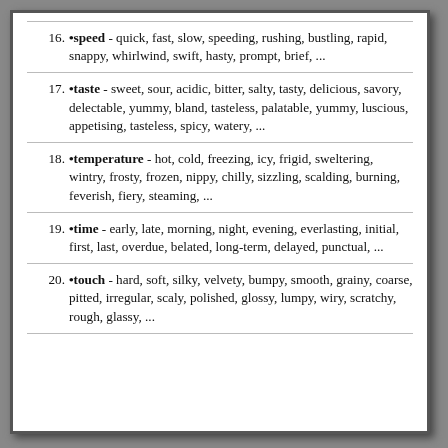16. •speed - quick, fast, slow, speeding, rushing, bustling, rapid, snappy, whirlwind, swift, hasty, prompt, brief, ...
17. •taste - sweet, sour, acidic, bitter, salty, tasty, delicious, savory, delectable, yummy, bland, tasteless, palatable, yummy, luscious, appetising, tasteless, spicy, watery, ...
18. •temperature - hot, cold, freezing, icy, frigid, sweltering, wintry, frosty, frozen, nippy, chilly, sizzling, scalding, burning, feverish, fiery, steaming, ...
19. •time - early, late, morning, night, evening, everlasting, initial, first, last, overdue, belated, long-term, delayed, punctual, ...
20. •touch - hard, soft, silky, velvety, bumpy, smooth, grainy, coarse, pitted, irregular, scaly, polished, glossy, lumpy, wiry, scratchy, rough, glassy, ...